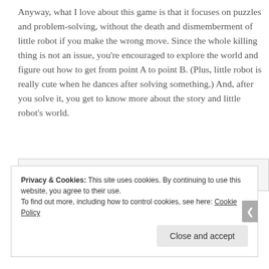Anyway, what I love about this game is that it focuses on puzzles and problem-solving, without the death and dismemberment of little robot if you make the wrong move. Since the whole killing thing is not an issue, you're encouraged to explore the world and figure out how to get from point A to point B. (Plus, little robot is really cute when he dances after solving something.) And, after you solve it, you get to know more about the story and little robot's world.
[Figure (other): Broken image placeholder with small image icon]
Privacy & Cookies: This site uses cookies. By continuing to use this website, you agree to their use.
To find out more, including how to control cookies, see here: Cookie Policy